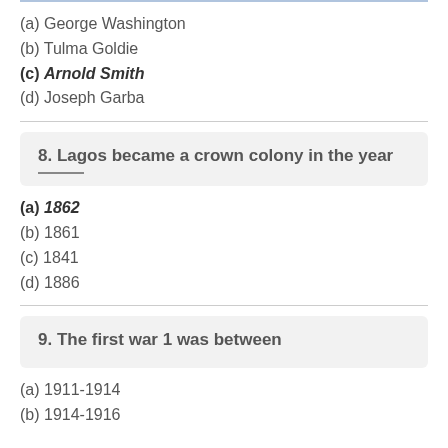(a) George Washington
(b) Tulma Goldie
(c) Arnold Smith
(d) Joseph Garba
8. Lagos became a crown colony in the year
(a) 1862
(b) 1861
(c) 1841
(d) 1886
9. The first war 1 was between
(a) 1911-1914
(b) 1914-1916